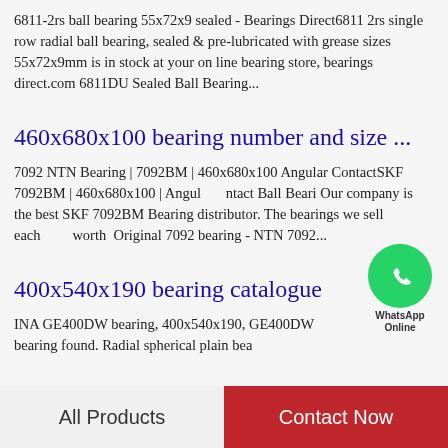6811-2rs ball bearing 55x72x9 sealed - Bearings Direct6811 2rs single row radial ball bearing, sealed & pre-lubricated with grease sizes 55x72x9mm is in stock at your on line bearing store, bearings direct.com 6811DU Sealed Ball Bearing...
460x680x100 bearing number and size ...
7092 NTN Bearing | 7092BM | 460x680x100 Angular ContactSKF 7092BM | 460x680x100 | Angular Contact Ball Beari Our company is the best SKF 7092BM Bearing distributor. The bearings we sell each worth  Original 7092 bearing - NTN 7092...
400x540x190 bearing catalogue
INA GE400DW bearing, 400x540x190, GE400DW bearing found. Radial spherical plain bearing GE 400...
All Products | Contact Now